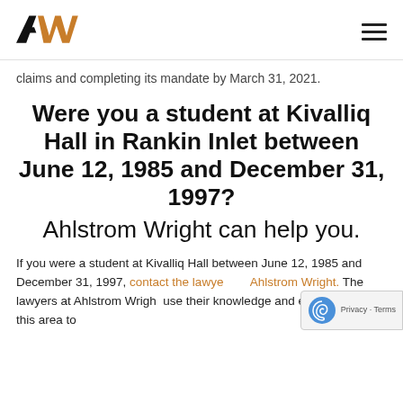AW [logo] | [hamburger menu]
claims and completing its mandate by March 31, 2021.
Were you a student at Kivalliq Hall in Rankin Inlet between June 12, 1985 and December 31, 1997? Ahlstrom Wright can help you.
If you were a student at Kivalliq Hall between June 12, 1985 and December 31, 1997, contact the lawyers at Ahlstrom Wright. The lawyers at Ahlstrom Wright use their knowledge and experience in this area to